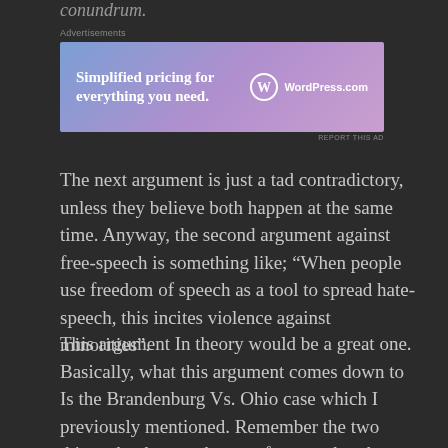conundrum.
Advertisements
[Figure (other): WordPress.com advertisement banner with gradient purple/pink background. Text reads: 'Simplified pricing for everything you need.' with WordPress.com logo.]
REPORT THIS AD
The next argument is just a tad contradictory, unless they believe both happen at the same time. Anyway, the second argument against free-speech is something like; “When people use freedom of speech as a tool to spread hate-speech, this incites violence against minorities”.
This argument In theory would be a great one. Basically, what this argument comes down to Is the Brandenburg Vs. Ohio case which I previously mentioned. Remember the two things that have to happen for speech to be curbed? 1)